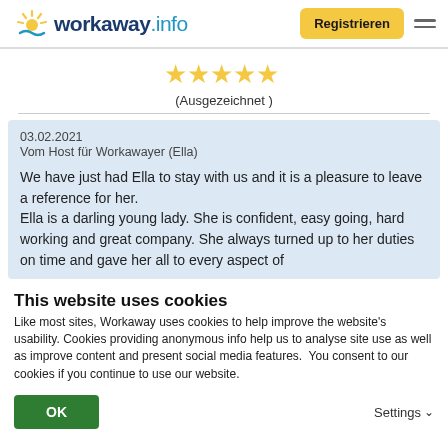[Figure (logo): Workaway.info logo with sun icon]
Registrieren
[Figure (illustration): Five gold stars rating]
(Ausgezeichnet )
03.02.2021
Vom Host für Workawayer (Ella)

We have just had Ella to stay with us and it is a pleasure to leave a reference for her.
Ella is a darling young lady. She is confident, easy going, hard working and great company. She always turned up to her duties on time and gave her all to every aspect of
This website uses cookies
Like most sites, Workaway uses cookies to help improve the website's usability. Cookies providing anonymous info help us to analyse site use as well as improve content and present social media features.  You consent to our cookies if you continue to use our website.
OK
Settings